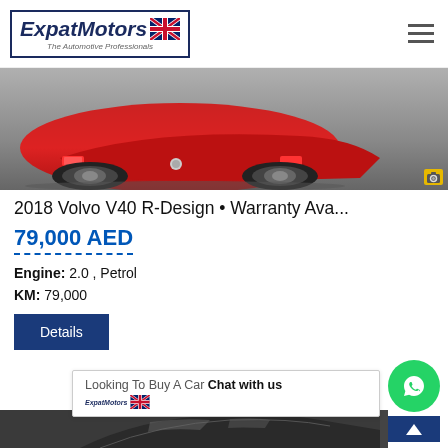[Figure (screenshot): ExpatMotors website header with logo and hamburger menu icon]
[Figure (photo): Red Volvo V40 R-Design rear view in showroom, with camera icon overlay]
2018 Volvo V40 R-Design • Warranty Ava...
79,000 AED
Engine: 2.0 , Petrol
KM: 79,000
Details
Looking To Buy A Car Chat with us
[Figure (photo): Dark Volvo V40 partial view at bottom of page]